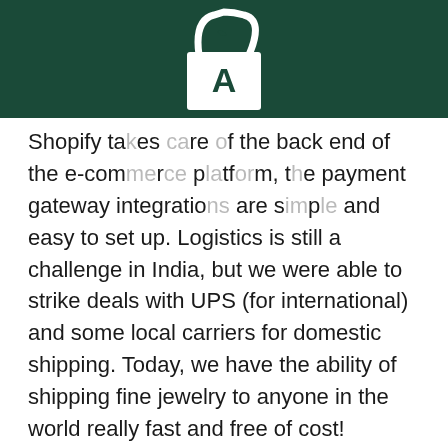[Figure (logo): White shopping bag logo with letter A on dark green header bar]
Shopify takes care of the back end of the e-commerce platform, the payment gateway integrations are simple and easy to set up. Logistics is still a challenge in India, but we were able to strike deals with UPS (for international) and some local carriers for domestic shipping. Today, we have the ability of shipping fine jewelry to anyone in the world really fast and free of cost!
We engaged very skilful teams for designing our packaging. We are very proud of it. Its a white handmade box that also works as a